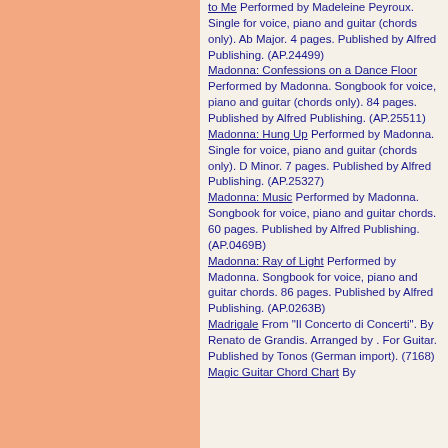to Me Performed by Madeleine Peyroux. Single for voice, piano and guitar (chords only). Ab Major. 4 pages. Published by Alfred Publishing. (AP.24499) Madonna: Confessions on a Dance Floor Performed by Madonna. Songbook for voice, piano and guitar (chords only). 84 pages. Published by Alfred Publishing. (AP.25511) Madonna: Hung Up Performed by Madonna. Single for voice, piano and guitar (chords only). D Minor. 7 pages. Published by Alfred Publishing. (AP.25327) Madonna: Music Performed by Madonna. Songbook for voice, piano and guitar chords. 60 pages. Published by Alfred Publishing. (AP.0469B) Madonna: Ray of Light Performed by Madonna. Songbook for voice, piano and guitar chords. 86 pages. Published by Alfred Publishing. (AP.0263B) Madrigale From "Il Concerto di Concerti". By Renato de Grandis. Arranged by . For Guitar. Published by Tonos (German import). (7168) Magic Guitar Chord Chart By